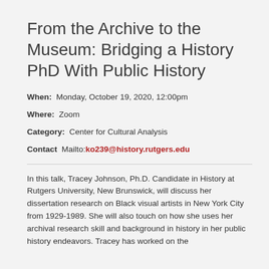From the Archive to the Museum: Bridging a History PhD With Public History
When:  Monday, October 19, 2020, 12:00pm
Where:  Zoom
Category:  Center for Cultural Analysis
Contact  Mailto:ko239@history.rutgers.edu
In this talk, Tracey Johnson, Ph.D. Candidate in History at Rutgers University, New Brunswick, will discuss her dissertation research on Black visual artists in New York City from 1929-1989. She will also touch on how she uses her archival research skill and background in history in her public history endeavors. Tracey has worked on the